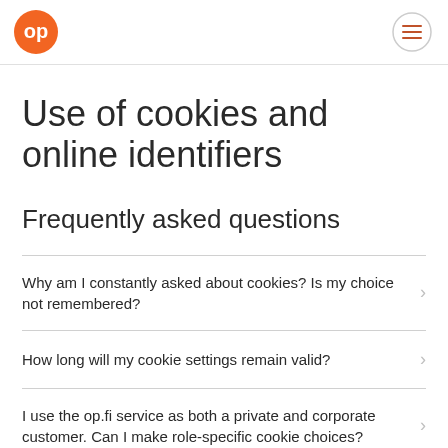OP logo and menu
Use of cookies and online identifiers
Frequently asked questions
Why am I constantly asked about cookies? Is my choice not remembered?
How long will my cookie settings remain valid?
I use the op.fi service as both a private and corporate customer. Can I make role-specific cookie choices?